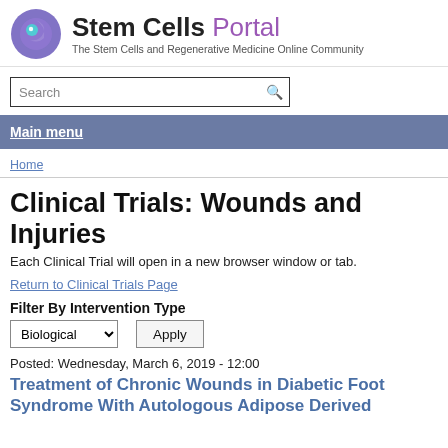[Figure (logo): Stem Cells Portal logo with circular icon and text 'Stem Cells Portal - The Stem Cells and Regenerative Medicine Online Community']
Search
Main menu
Home
Clinical Trials: Wounds and Injuries
Each Clinical Trial will open in a new browser window or tab.
Return to Clinical Trials Page
Filter By Intervention Type
Biological   Apply
Posted: Wednesday, March 6, 2019 - 12:00
Treatment of Chronic Wounds in Diabetic Foot Syndrome With Autologous Adipose Derived